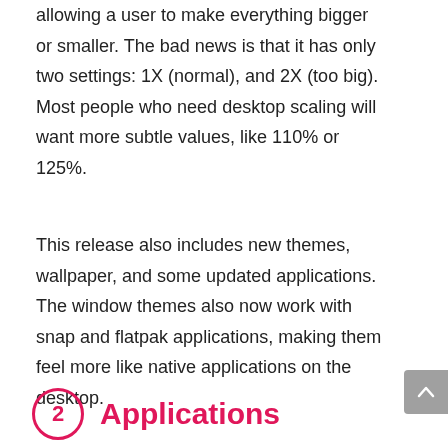allowing a user to make everything bigger or smaller. The bad news is that it has only two settings: 1X (normal), and 2X (too big). Most people who need desktop scaling will want more subtle values, like 110% or 125%.
This release also includes new themes, wallpaper, and some updated applications. The window themes also now work with snap and flatpak applications, making them feel more like native applications on the desktop.
2 Applications